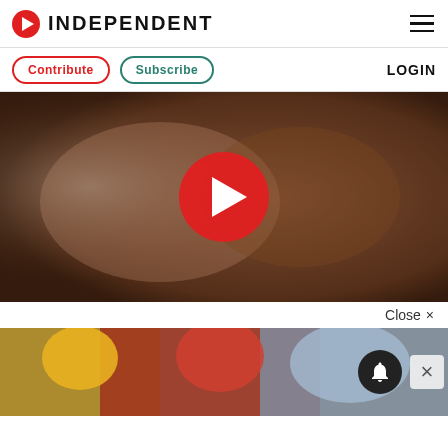INDEPENDENT
Contribute  Subscribe  LOGIN
[Figure (photo): Close-up video thumbnail of hands, with a large red play button overlay. The video player shows a paused state.]
Close ×
[Figure (photo): Advertisement banner showing people wearing colorful head coverings. Has a notification bell button (dark circle) and a close X button on the right.]